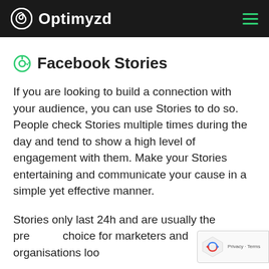Optimyzd
Facebook Stories
If you are looking to build a connection with your audience, you can use Stories to do so. People check Stories multiple times during the day and tend to show a high level of engagement with them. Make your Stories entertaining and communicate your cause in a simple yet effective manner.
Stories only last 24h and are usually the preferred choice for marketers and organisations looking...